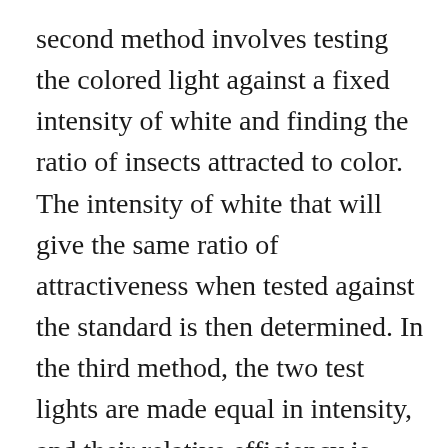second method involves testing the colored light against a fixed intensity of white and finding the ratio of insects attracted to color. The intensity of white that will give the same ratio of attractiveness when tested against the standard is then determined. In the third method, the two test lights are made equal in intensity, and their relative efficiency is considered to be directly proportional to the number of insects attracted to each. In the last method, the standard is kept"fixed in both quality and intensity, and the intensity of the test color is varied until the two arc